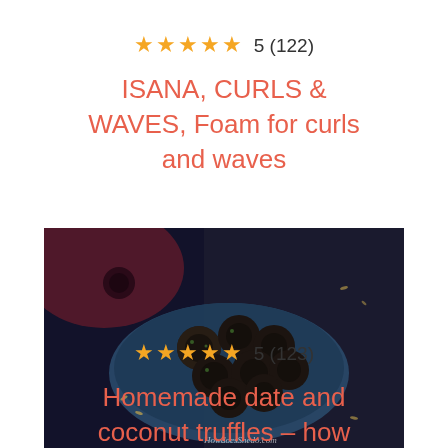★★★★★ 5 (122)
ISANA, CURLS & WAVES, Foam for curls and waves
[Figure (photo): Dark photo of homemade chocolate truffles coated in coconut/seeds arranged in a blue tart tin on a dark surface, with watermark howdoesshedo.com]
★★★★★ 5 (123)
Homemade date and coconut truffles – how to make them?